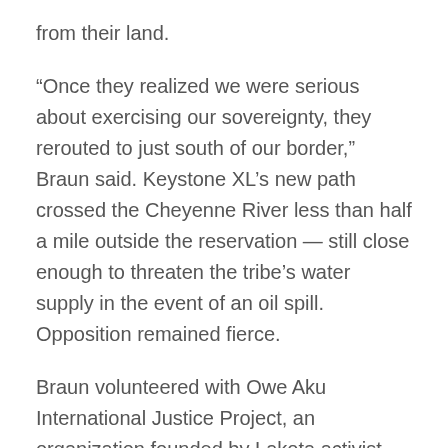from their land.
“Once they realized we were serious about exercising our sovereignty, they rerouted to just south of our border,” Braun said. Keystone XL’s new path crossed the Cheyenne River less than half a mile outside the reservation — still close enough to threaten the tribe’s water supply in the event of an oil spill. Opposition remained fierce.
Braun volunteered with Owe Aku International Justice Project, an organization founded by Lakota activist Debra White Plume that defends Indigenous sovereignty and was instrumental in the Keystone XL fight. In 2013-2014, Owe Aku organized a series of